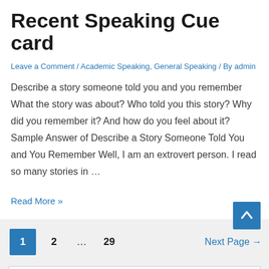Recent Speaking Cue card
Leave a Comment / Academic Speaking, General Speaking / By admin
Describe a story someone told you and you remember What the story was about? Who told you this story? Why did you remember it? And how do you feel about it? Sample Answer of Describe a Story Someone Told You and You Remember Well, I am an extrovert person. I read so many stories in …
Read More »
1 2 … 29 Next Page →
Search …
Subscribe to Blog via Email